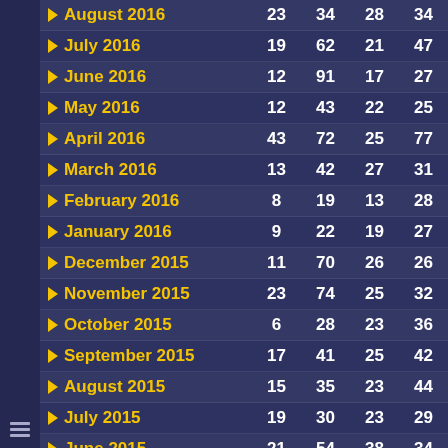| Month | Col1 | Col2 | Col3 | Col4 |
| --- | --- | --- | --- | --- |
| August 2016 | 23 | 34 | 28 | 34 |
| July 2016 | 19 | 62 | 21 | 47 |
| June 2016 | 12 | 91 | 17 | 27 |
| May 2016 | 12 | 43 | 22 | 25 |
| April 2016 | 43 | 72 | 25 | 77 |
| March 2016 | 13 | 42 | 27 | 31 |
| February 2016 | 8 | 19 | 13 | 28 |
| January 2016 | 9 | 22 | 19 | 27 |
| December 2015 | 11 | 70 | 26 | 26 |
| November 2015 | 23 | 74 | 25 | 32 |
| October 2015 | 6 | 28 | 23 | 36 |
| September 2015 | 17 | 41 | 25 | 42 |
| August 2015 | 15 | 35 | 23 | 44 |
| July 2015 | 19 | 30 | 23 | 29 |
| June 2015 | 21 | 54 | 38 | 34 |
| May 2015 | 21 | 44 | 34 | 42 |
| April 2015 | 16 | 41 | 18 | 45 |
| March 2015 | 14 | 47 | 16 | 41 |